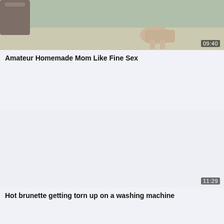[Figure (screenshot): Video thumbnail showing a blurry outdoor scene with a person, duration badge 09:40 in bottom right corner]
Amateur Homemade Mom Like Fine Sex
[Figure (screenshot): Video thumbnail area (mostly blank/light colored) with duration badge 11:29 in bottom right corner]
Hot brunette getting torn up on a washing machine